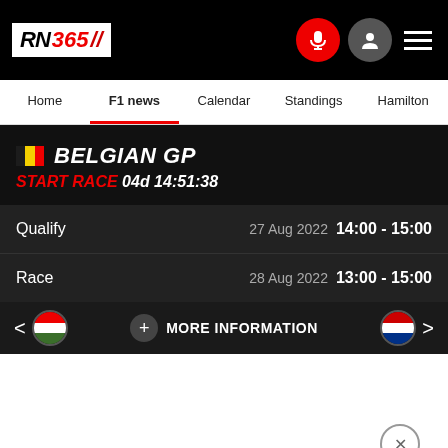RN 365
Home  F1 news  Calendar  Standings  Hamilton
BELGIAN GP
START RACE 04d 14:51:38
| Session | Date | Time |
| --- | --- | --- |
| Qualify | 27 Aug 2022 | 14:00 - 15:00 |
| Race | 28 Aug 2022 | 13:00 - 15:00 |
+ MORE INFORMATION